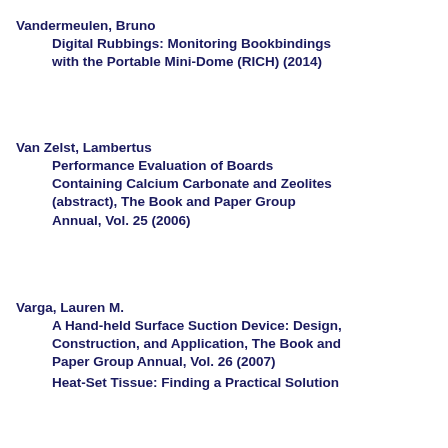Vandermeulen, Bruno
	Digital Rubbings: Monitoring Bookbindings with the Portable Mini-Dome (RICH) (2014)
Van Zelst, Lambertus
	Performance Evaluation of Boards Containing Calcium Carbonate and Zeolites (abstract), The Book and Paper Group Annual, Vol. 25 (2006)
Varga, Lauren M.
	A Hand-held Surface Suction Device: Design, Construction, and Application, The Book and Paper Group Annual, Vol. 26 (2007)
	Heat-Set Tissue: Finding a Practical Solution